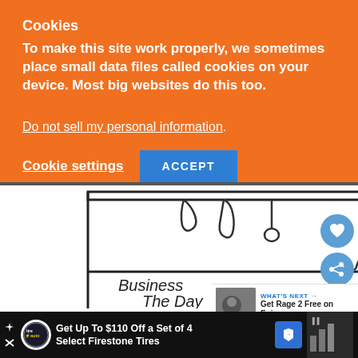Cookies
To make this site work properly, we sometimes place small data files called cookies on your device. Most big websites do this too.
Do not sell my personal information.
Cookie settings   ACCEPT
[Figure (illustration): Hand-drawn sketch of a person standing behind a market stall/booth with items hanging from a rack. Text in booth reads 'Business' and 'The Day']
WHAT'S NEXT → Get Rage 2 Free on Epic...
Get Up To $110 Off a Set of 4 Select Firestone Tires